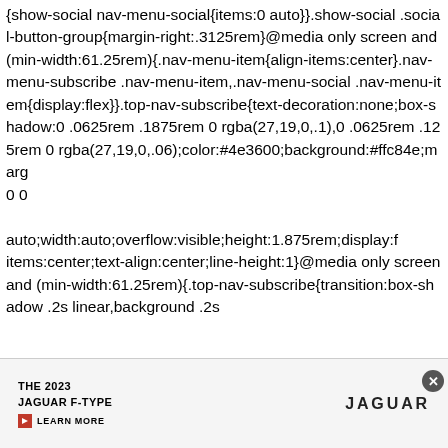{show-social nav-menu-social{items:0 auto}}.show-social .social-button-group{margin-right:.3125rem}@media only screen and (min-width:61.25rem){.nav-menu-item{align-items:center}.nav-menu-subscribe .nav-menu-item,.nav-menu-social .nav-menu-item{display:flex}}.top-nav-subscribe{text-decoration:none;box-shadow:0 .0625rem .1875rem 0 rgba(27,19,0,.1),0 .0625rem .125rem 0 rgba(27,19,0,.06);color:#4e3600;background:#ffc84e;marg… 0 0 auto;width:auto;overflow:visible;height:1.875rem;display:f… items:center;text-align:center;line-height:1}@media only screen and (min-width:61.25rem){.top-nav-subscribe{transition:box-shadow .2s linear,background .2s
[Figure (other): Advertisement banner for The 2023 Jaguar F-Type with a Learn More button and Jaguar logo, with a close (X) button overlay.]